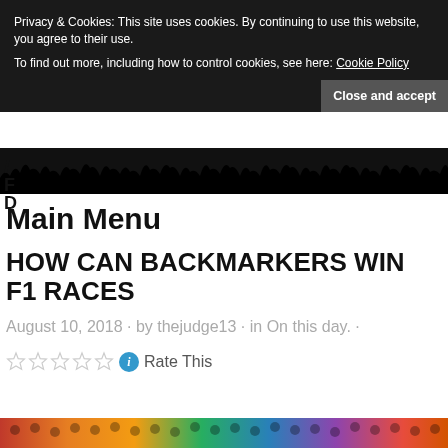Privacy & Cookies: This site uses cookies. By continuing to use this website, you agree to their use.
To find out more, including how to control cookies, see here: Cookie Policy
Close and accept
Main Menu
HOW CAN BACKMARKERS WIN F1 RACES
August 10, 2018 · by thejudge13 · in On this day. ·
Rate This
[Figure (photo): Colorful crowd of F1 race spectators at the bottom of the page]